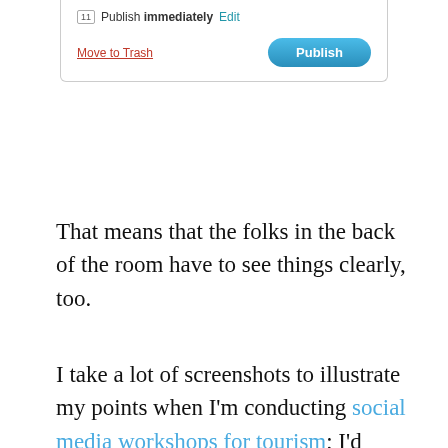[Figure (screenshot): WordPress publish panel screenshot showing 'Publish immediately Edit' row with calendar icon, and a bottom row with 'Move to Trash' link in red and a blue 'Publish' button]
That means that the folks in the back of the room have to see things clearly, too.
I take a lot of screenshots to illustrate my points when I'm conducting social media workshops for tourism; I'd rather go live online but hate to depend on sketchy conference venue WiFi. Although a standard screenshot image looks fine on a computer monitor, it is impossible to read when projected onto a screen. Expanding it simply distorts it.